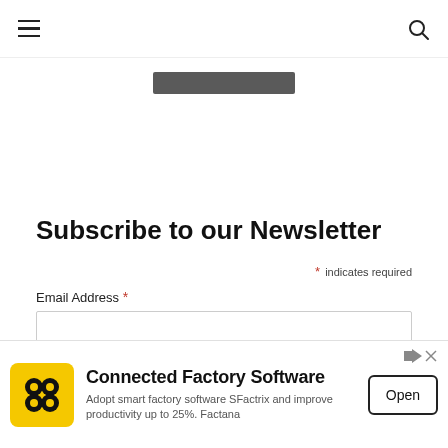Navigation bar with hamburger menu and search icon
[Figure (other): Gray redacted/placeholder bar centered near top of page]
Subscribe to our Newsletter
* indicates required
Email Address *
[Figure (screenshot): Advertisement banner: Connected Factory Software - Adopt smart factory software SFactrix and improve productivity up to 25%. Factana - with Open button and yellow logo]